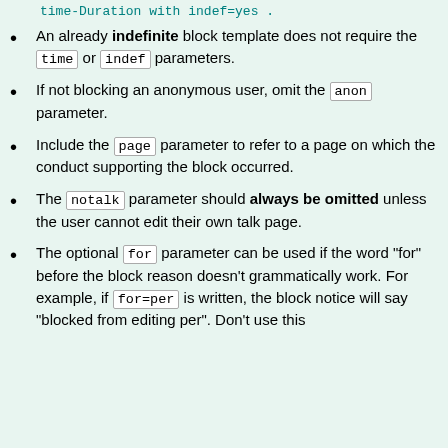An already indefinite block template does not require the time or indef parameters.
If not blocking an anonymous user, omit the anon parameter.
Include the page parameter to refer to a page on which the conduct supporting the block occurred.
The notalk parameter should always be omitted unless the user cannot edit their own talk page.
The optional for parameter can be used if the word "for" before the block reason doesn't grammatically work. For example, if for=per is written, the block notice will say "blocked from editing per". Don't use this